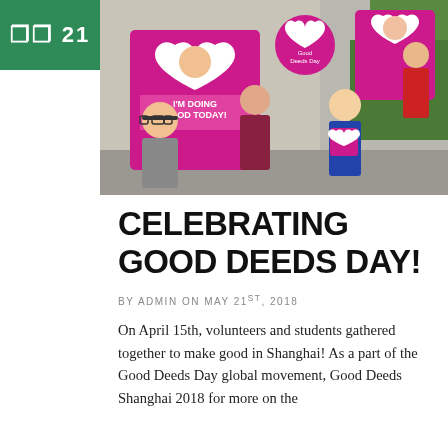⬛⬛ 21
[Figure (photo): Group of volunteers and students posing with pink 'Good Deeds Day' heart-shaped signs and 'I'm Doing Good Today!' banners outdoors]
CELEBRATING GOOD DEEDS DAY!
BY ADMIN ON MAY 21ST, 2018
On April 15th, volunteers and students gathered together to make good in Shanghai! As a part of the Good Deeds Day global movement, Good Deeds Shanghai 2018 for more on the